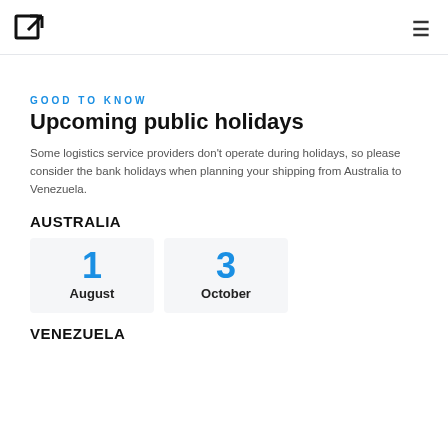[logo] [hamburger menu]
GOOD TO KNOW
Upcoming public holidays
Some logistics service providers don't operate during holidays, so please consider the bank holidays when planning your shipping from Australia to Venezuela.
AUSTRALIA
1 August
3 October
VENEZUELA